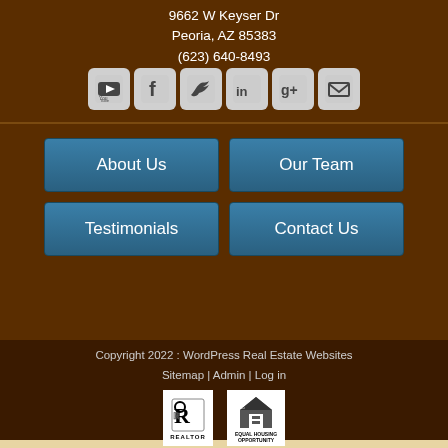9662 W Keyser Dr
Peoria, AZ 85383
(623) 640-8493
[Figure (infographic): Social media icons row: YouTube, Facebook, Twitter, LinkedIn, Google+, Email]
About Us
Our Team
Testimonials
Contact Us
Copyright 2022 : WordPress Real Estate Websites
Sitemap | Admin | Log in
[Figure (logo): REALTOR logo and Equal Housing Opportunity logo]